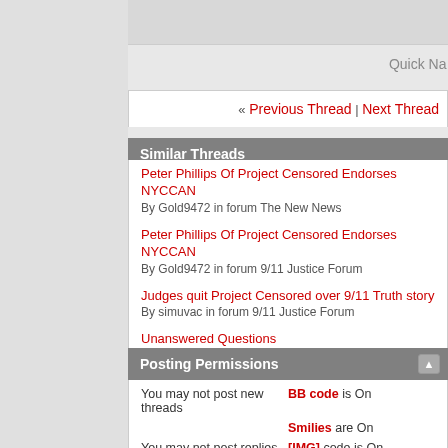Quick Na
« Previous Thread | Next Thread
Similar Threads
Peter Phillips Of Project Censored Endorses NYCCAN
By Gold9472 in forum The New News
Peter Phillips Of Project Censored Endorses NYCCAN
By Gold9472 in forum 9/11 Justice Forum
Judges quit Project Censored over 9/11 Truth story
By simuvac in forum 9/11 Justice Forum
Unanswered Questions
By Gold9472 in forum 9/11 Justice Forum
Threshold Fears And Unanswered Questions About 9/11
By Gold9472 in forum 9/11 Justice Forum
Posting Permissions
You may not post new threads
You may not post replies
BB code is On
Smilies are On
[IMG] code is On